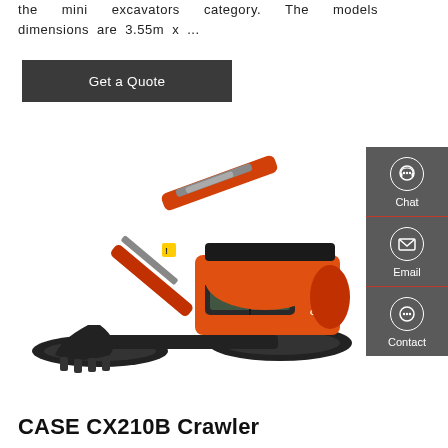the mini excavators category. The models dimensions are 3.55m x ...
Get a Quote
[Figure (photo): Doosan mini excavator (orange and black) with tracks, boom arm extended, bucket attachment, cab with operator seat visible, on white background]
[Figure (infographic): Sidebar with Chat, Email, and Contact icons on dark grey background with red dividers]
CASE CX210B Crawler